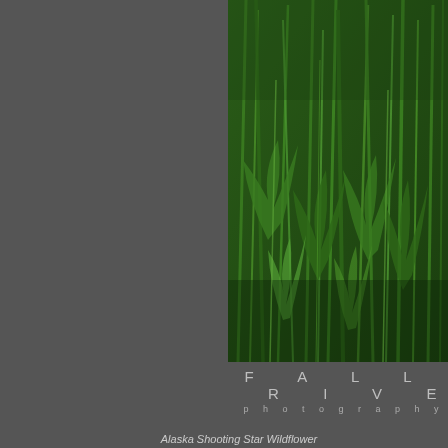[Figure (photo): Close-up photograph of green grass and wildflower plants (Alaska Shooting Star Wildflower), dense foliage with thin green stalks and leafy plants]
[Figure (logo): Fall River Photography logo — text FALL RIVER in wide letter-spacing above the word photography in smaller spaced text, on dark gray background]
Alaska Shooting Star Wildflower
The Alaska wildflower season is once again in full swing. These Shooting Stars w... morning as I was heading in. They are absolutely beautiful flowers and set agains... stand out.
[Figure (infographic): Social share buttons: Facebook, Twitter, Email, Pinterest, plus button, and count showing 0]
Jun 20, 2010 | Categories: Alaska | Tags: shooting star, shooting star wildflower, wildfl... alaska | Comments Off on Shooting Star